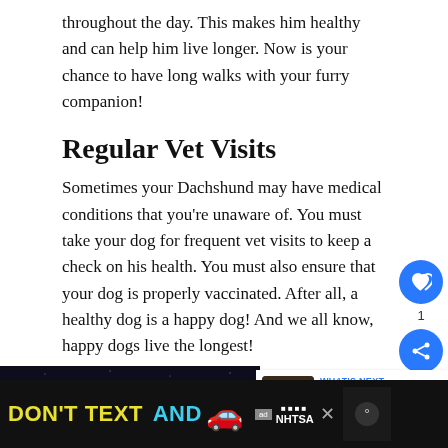throughout the day. This makes him healthy and can help him live longer. Now is your chance to have long walks with your furry companion!
Regular Vet Visits
Sometimes your Dachshund may have medical conditions that you're unaware of. You must take your dog for frequent vet visits to keep a check on his health. You must also ensure that your dog is properly vaccinated. After all, a healthy dog is a happy dog! And we all know, happy dogs live the longest!
[Figure (screenshot): Dark space-themed video thumbnail with starfield background]
[Figure (infographic): WHAT'S NEXT arrow label with How Much Does A... text and dog thumbnail - next article widget]
[Figure (infographic): Ad banner: DON'T TEXT AND with car emoji and NHTSA logo on black background]